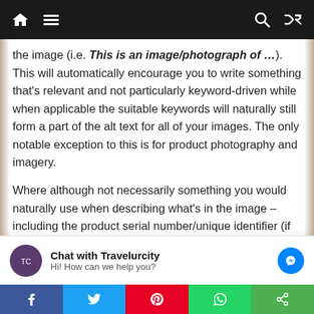[Figure (screenshot): Website navigation bar with dark background, home icon, hamburger menu icon on the left, and search and shuffle icons on the right]
the image (i.e. This is an image/photograph of …). This will automatically encourage you to write something that's relevant and not particularly keyword-driven while when applicable the suitable keywords will naturally still form a part of the alt text for all of your images. The only notable exception to this is for product photography and imagery.

Where although not necessarily something you would naturally use when describing what's in the image – including the product serial number/unique identifier (if it's something that
[Figure (screenshot): Chat with Travelurcity widget showing avatar, title 'Chat with Travelurcity', subtitle 'Hi! How can we help you?' and Messenger icon]
[Figure (screenshot): Social sharing bar with Facebook, Twitter, Pinterest, WhatsApp, and share buttons]